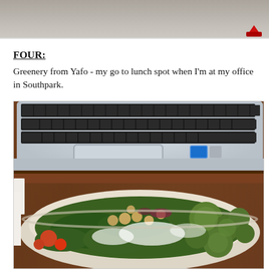[Figure (photo): Top portion of a photo showing a carpet/floor with a small red object in the bottom right corner]
FOUR:
Greenery from Yafo - my go to lunch spot when I'm at my office in Southpark.
[Figure (photo): A photo of a laptop computer with a bowl of salad (Greenery from Yafo) on a wooden desk. The salad bowl contains greens, brussels sprouts, chickpeas, tomatoes, and white cheese/dressing.]